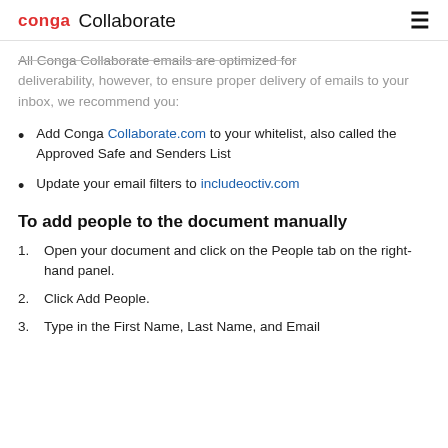conga Collaborate
All Conga Collaborate emails are optimized for deliverability, however, to ensure proper delivery of emails to your inbox, we recommend you:
Add Conga Collaborate.com to your whitelist, also called the Approved Safe and Senders List
Update your email filters to includeoctiv.com
To add people to the document manually
Open your document and click on the People tab on the right-hand panel.
Click Add People.
Type in the First Name, Last Name, and Email